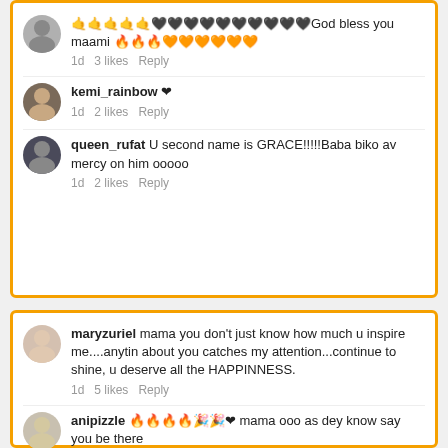[Figure (screenshot): Social media comment section screenshot showing multiple user comments with profile pictures, usernames, text, likes and reply options]
🤙🤙🤙🤙🤙🖤🖤🖤🖤🖤🖤🖤🖤🖤🖤God bless you maami 🔥🔥🔥🧡🧡🧡🧡🧡🧡
1d   3 likes   Reply
kemi_rainbow ❤
1d   2 likes   Reply
queen_rufat U second name is GRACE!!!!!Baba biko av mercy on him ooooo
1d   2 likes   Reply
maryzuriel mama you don't just know how much u inspire me....anytin about you catches my attention...continue to shine, u deserve all the HAPPINNESS.
1d   5 likes   Reply
anipizzle 🔥🔥🔥🔥🎉🎉❤ mama ooo as dey know say you be there